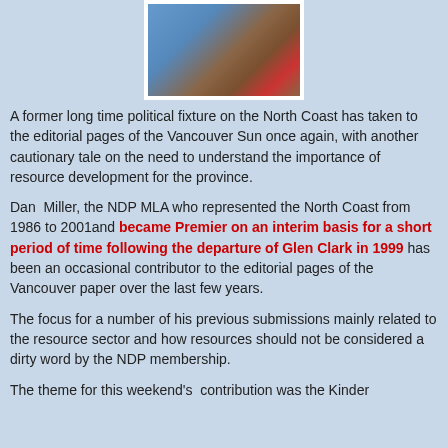[Figure (photo): Partial photo of a person, cropped at top, against a blue background, wearing brown jacket and red tie]
A former long time political fixture on the North Coast has taken to the editorial pages of the Vancouver Sun once again, with another cautionary tale on the need to understand the importance of resource development for the province.
Dan Miller, the NDP MLA who represented the North Coast from 1986 to 2001and became Premier on an interim basis for a short period of time following the departure of Glen Clark in 1999 has been an occasional contributor to the editorial pages of the Vancouver paper over the last few years.
The focus for a number of his previous submissions mainly related to the resource sector and how resources should not be considered a dirty word by the NDP membership.
The theme for this weekend's contribution was the Kinder